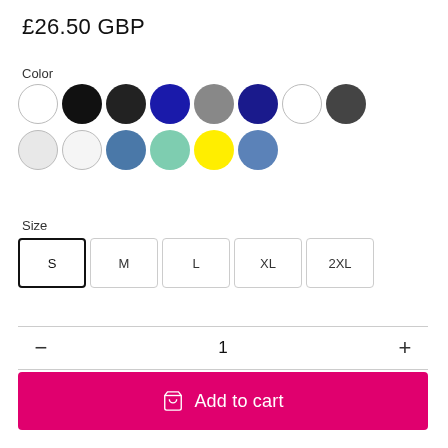£26.50 GBP
Color
[Figure (other): Color swatches: row 1: white (outline), black, dark black, dark blue, gray, navy blue, white (outline), dark gray. Row 2: light gray (outline), white (outline), steel blue, mint green, yellow, steel blue.]
Size
[Figure (other): Size selector buttons: S (selected/outlined), M, L, XL, 2XL]
1
[Figure (other): Add to cart button with shopping bag icon, pink/magenta background]